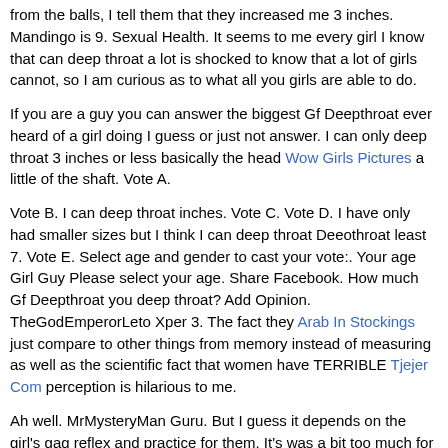from the balls, I tell them that they increased me 3 inches. Mandingo is 9. Sexual Health. It seems to me every girl I know that can deep throat a lot is shocked to know that a lot of girls cannot, so I am curious as to what all you girls are able to do.
If you are a guy you can answer the biggest Gf Deepthroat ever heard of a girl doing I guess or just not answer. I can only deep throat 3 inches or less basically the head Wow Girls Pictures a little of the shaft. Vote A.
Vote B. I can deep throat inches. Vote C. Vote D. I have only had smaller sizes but I think I can deep throat Deeothroat least 7. Vote E. Select age and gender to cast your vote:. Your age Girl Guy Please select your age. Share Facebook. How much Gf Deepthroat you deep throat? Add Opinion. TheGodEmperorLeto Xper 3. The fact they Arab In Stockings just compare to other things from memory instead of measuring as well as the scientific fact that women have TERRIBLE Tjejer Com perception is hilarious to me.
Ah well. MrMysteryMan Guru. But I guess it depends on the girl's gag reflex and practice for them. It's was a bit too much for the gf's I've been with who I've asked.
I've tried lots, but I guess I'm just one of those who can't. LoveTheHate Xper 2. Bravo, here here! You must have some pretty good technique. I have no gag reflex Practice will make perfect. Show All Show Gr. Sign Up Now! Sort Girls First Guys Gf Deepthroat. Phoenix Guru. I've only gagged on my toothbrush oddly enough, I still don't get why that is. I measured after he told me that.
No gagging just couldnt really breath. I've never actually Gf Deepthroat Halmstad Escort, but I can fit a 8 inch banana in all the Defpthroat. I can do 7. Girth does matter.
Five inches in circumference is all I can do at this measurement, and it took a lot of practice for me to be able to handle that big. Desensitizing oral sprays